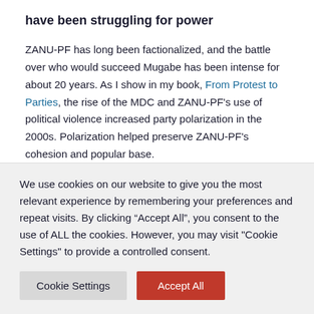have been struggling for power
ZANU-PF has long been factionalized, and the battle over who would succeed Mugabe has been intense for about 20 years. As I show in my book, From Protest to Parties, the rise of the MDC and ZANU-PF’s use of political violence increased party polarization in the 2000s. Polarization helped preserve ZANU-PF’s cohesion and popular base.
After violent and disputed elections in 2008, however,
We use cookies on our website to give you the most relevant experience by remembering your preferences and repeat visits. By clicking “Accept All”, you consent to the use of ALL the cookies. However, you may visit "Cookie Settings" to provide a controlled consent.